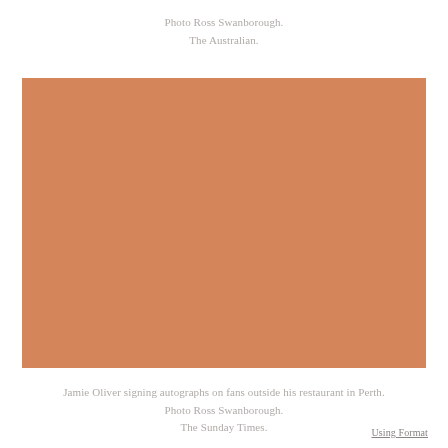Photo Ross Swanborough.
The Australian.
[Figure (photo): A solid terracotta/caramel-colored rectangular placeholder representing a photograph, with no visible image content.]
Jamie Oliver signing autographs on fans outside his restaurant in Perth.
Photo Ross Swanborough.
The Sunday Times.
Using Format